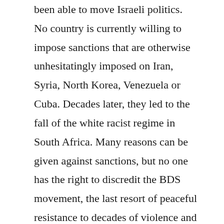been able to move Israeli politics. No country is currently willing to impose sanctions that are otherwise unhesitatingly imposed on Iran, Syria, North Korea, Venezuela or Cuba. Decades later, they led to the fall of the white racist regime in South Africa. Many reasons can be given against sanctions, but no one has the right to discredit the BDS movement, the last resort of peaceful resistance to decades of violence and oppression, as anti-Semitic. This is in ours Venezuela or Cuba will be imposed. Decades later, they led to the fall of the white racist regime in South Africa. Many reasons can be given against sanctions, but no one has the right to discredit the BDS movement, the last resort of peaceful resistance to decades of violence and oppression, as anti-Semitic. This is in ours Venezuela or Cuba will be imposed. Decades later, they led to the fall